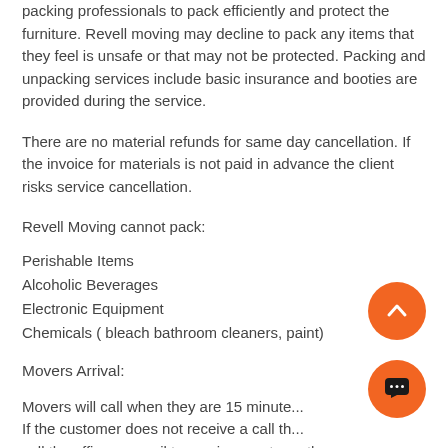packing professionals to pack efficiently and protect the furniture. Revell moving may decline to pack any items that they feel is unsafe or that may not be protected. Packing and unpacking services include basic insurance and booties are provided during the service.
There are no material refunds for same day cancellation. If the invoice for materials is not paid in advance the client risks service cancellation.
Revell Moving cannot pack:
Perishable Items
Alcoholic Beverages
Electronic Equipment
Chemicals ( bleach bathroom cleaners, paint)
Movers Arrival:
Movers will call when they are 15 minute... If the customer does not receive a call th... call the office or email to receive an eta on the